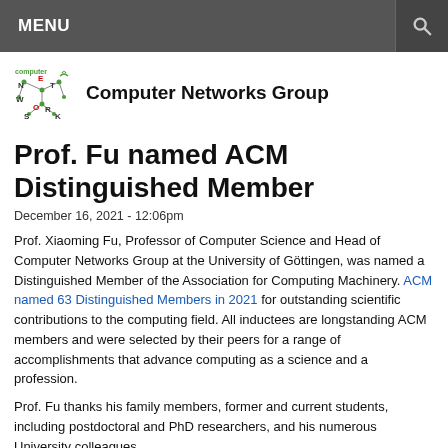MENU
[Figure (logo): Computer Networks Group logo with stylized network graph and text]
Computer Networks Group
Prof. Fu named ACM Distinguished Member
December 16, 2021 - 12:06pm
Prof. Xiaoming Fu, Professor of Computer Science and Head of Computer Networks Group at the University of Göttingen, was named a Distinguished Member of the Association for Computing Machinery. ACM named 63 Distinguished Members in 2021 for outstanding scientific contributions to the computing field. All inductees are longstanding ACM members and were selected by their peers for a range of accomplishments that advance computing as a science and a profession.
Prof. Fu thanks his family members, former and current students, including postdoctoral and PhD researchers, and his numerous University colleagues